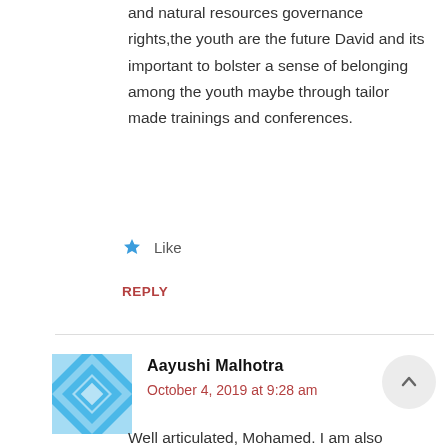and natural resources governance rights,the youth are the future David and its important to bolster a sense of belonging among the youth maybe through tailor made trainings and conferences.
★ Like
REPLY
Aayushi Malhotra
October 4, 2019 at 9:28 am
Well articulated, Mohamed. I am also working with a traditional pastoral community in India where a same situation is prevailing. Pastoral livelihood strategy is a dying a slow death as the youth of the